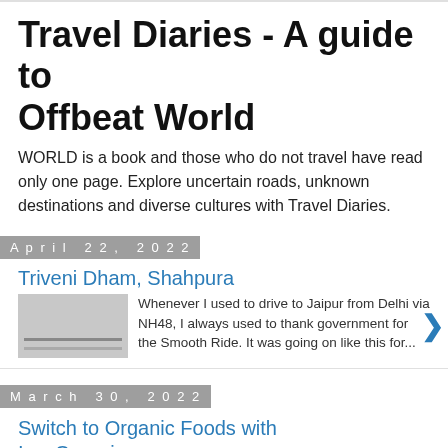Travel Diaries - A guide to Offbeat World
WORLD is a book and those who do not travel have read only one page. Explore uncertain roads, unknown destinations and diverse cultures with Travel Diaries.
April 22, 2022
Triveni Dham, Shahpura
Whenever I used to drive to Jaipur from Delhi via NH48, I always used to thank government for the Smooth Ride. It was going on like this for...
March 30, 2022
Switch to Organic Foods with IsayOrganic
To think well, love well, and to sleep well one has